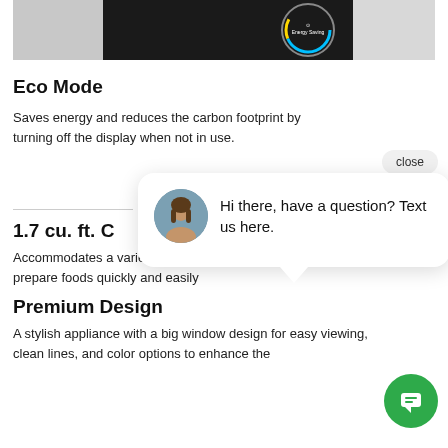[Figure (photo): Product photo showing appliance control panel with 'Energy Saving' circular dial/display]
Eco Mode
Saves energy and reduces the carbon footprint by turning off the display when not in use.
[Figure (screenshot): Live chat popup with avatar of a woman and text: Hi there, have a question? Text us here. With a close button and green chat icon button.]
1.7 cu. ft. C
Accommodates a variety of snacks and meal items to prepare foods quickly and easily
Premium Design
A stylish appliance with a big window design for easy viewing, clean lines, and color options to enhance the